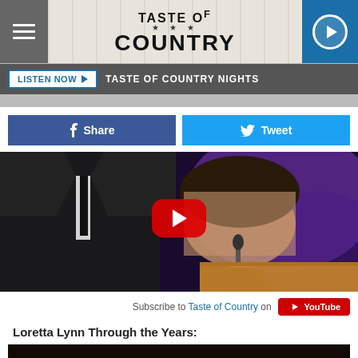[Figure (screenshot): Taste of Country website header with hamburger menu, logo, and play button]
LISTEN NOW ▶   TASTE OF COUNTRY NIGHTS
[Figure (screenshot): Facebook Share and Twitter Tweet social sharing buttons]
[Figure (screenshot): YouTube video thumbnail showing Loretta Lynn at a podium with a man in a black suit, purple lighting in background, red YouTube play button overlay]
Subscribe to Taste of Country on YouTube
Loretta Lynn Through the Years:
[Figure (screenshot): Dark gallery thumbnail image at bottom of page]